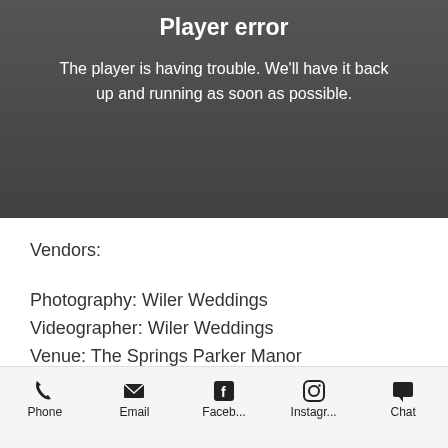[Figure (screenshot): Video player with dark background showing error state]
Player error
The player is having trouble. We'll have it back up and running as soon as possible.
Vendors:
Photography: Wiler Weddings
Videographer: Wiler Weddings
Venue: The Springs Parker Manor
Florist:  Blossoms on the bricks
DJ: LeForce Entertainment- Dylan Topliff
Officiant:  Jon Sherman
Makeup:  Brooke Johnson
Phone  Email  Faceb...  Instagr...  Chat